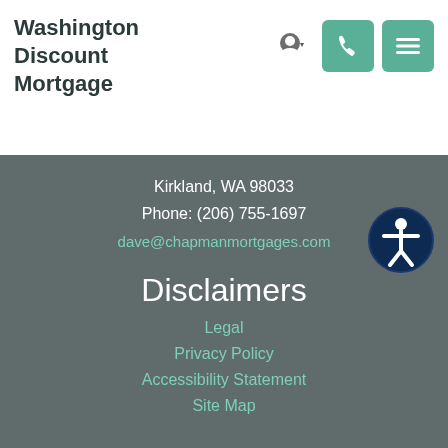Washington Discount Mortgage
Kirkland, WA 98033
Phone: (206) 755-1697
dave@chapmanmortgages.com
Disclaimers
Legal
Privacy Policy
Accessibility Statement
Site Map
Resources